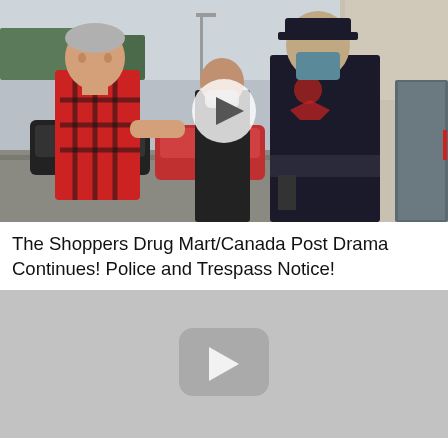[Figure (photo): Photo of a man in a red and black flannel shirt facing a police officer in dark uniform with mask and gear, in a parking lot, with another person in background also masked. A circular play button overlay is visible in the center of the image.]
The Shoppers Drug Mart/Canada Post Drama Continues! Police and Trespass Notice!
[Figure (screenshot): A second video thumbnail with a gray background showing a rounded-rectangle play button icon in the center, partially visible (cropped at bottom).]